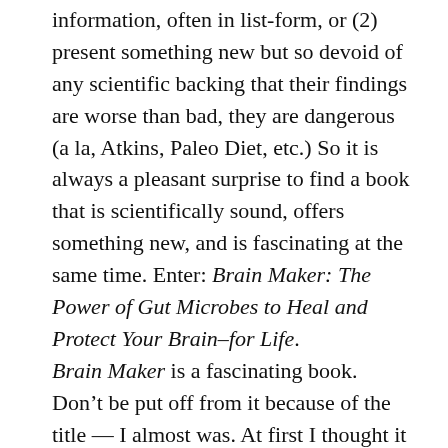information, often in list-form, or (2) present something new but so devoid of any scientific backing that their findings are worse than bad, they are dangerous (a la, Atkins, Paleo Diet, etc.) So it is always a pleasant surprise to find a book that is scientifically sound, offers something new, and is fascinating at the same time. Enter: Brain Maker: The Power of Gut Microbes to Heal and Protect Your Brain–for Life.
Brain Maker is a fascinating book. Don't be put off from it because of the title — I almost was. At first I thought it was a book on how to improve my cognitive skills, and I've heard enough of that sort of thing that it doesn't interest me. However, the book's title should